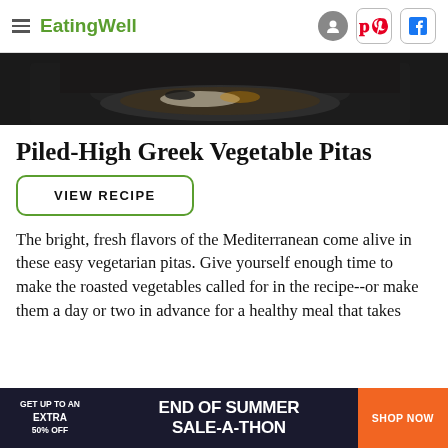EatingWell
[Figure (photo): Partial food photo showing a dish, dark background, cropped at top]
Piled-High Greek Vegetable Pitas
VIEW RECIPE
The bright, fresh flavors of the Mediterranean come alive in these easy vegetarian pitas. Give yourself enough time to make the roasted vegetables called for in the recipe--or make them a day or two in advance for a healthy meal that takes less than 30 minutes to prepare. The recipe could also v...
[Figure (infographic): Ad banner: GET UP TO AN EXTRA 50% OFF — END OF SUMMER SALE-A-THON — SHOP NOW (orange button)]